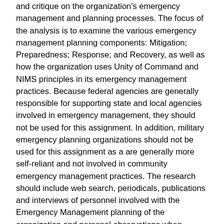and critique on the organization's emergency management and planning processes. The focus of the analysis is to examine the various emergency management planning components: Mitigation; Preparedness; Response; and Recovery, as well as how the organization uses Unity of Command and NIMS principles in its emergency management practices. Because federal agencies are generally responsible for supporting state and local agencies involved in emergency management, they should not be used for this assignment. In addition, military emergency planning organizations should not be used for this assignment as a are generally more self-reliant and not involved in community emergency management practices. The research should include web search, periodicals, publications and interviews of personnel involved with the Emergency Management planning of the organization and personal observations when possible. Students